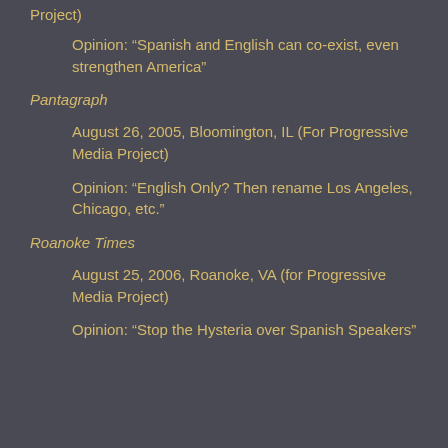Project)
Opinion: “Spanish and English can co-exist, even strengthen America”
Pantagraph
August 26, 2005, Bloomington, IL (For Progressive Media Project)
Opinion: “English Only? Then rename Los Angeles, Chicago, etc.”
Roanoke Times
August 25, 2006, Roanoke, VA (for Progressive Media Project)
Opinion: “Stop the Hysteria over Spanish Speakers”